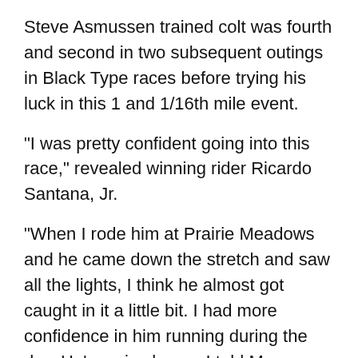Steve Asmussen trained colt was fourth and second in two subsequent outings in Black Type races before trying his luck in this 1 and 1/16th mile event.
“I was pretty confident going into this race,” revealed winning rider Ricardo Santana, Jr.
“When I rode him at Prairie Meadows and he came down the stretch and saw all the lights, I think he almost got caught in it a little bit. I had more confidence in him running during the day. He’s a nice horse. I told Mr. Asmussen after I broke his maiden here that I definitely wanted to ride him again.”
Raced by Jerry Durant, Lucky Player is the first winner for Janetstickettocats, a half-sister by Storm Cat to Grade II winner Runway Model.
Lucky Player is the third stakes-winner and first graded